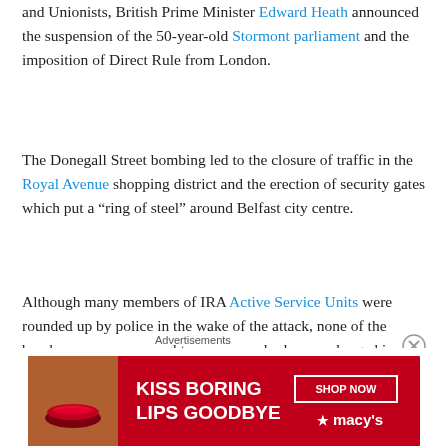and Unionists, British Prime Minister Edward Heath announced the suspension of the 50-year-old Stormont parliament and the imposition of Direct Rule from London.
The Donegall Street bombing led to the closure of traffic in the Royal Avenue shopping district and the erection of security gates which put a “ring of steel” around Belfast city centre.
Although many members of IRA Active Service Units were rounded up by police in the wake of the attack, none of the bombers were ever caught nor was anybody ever charged in connection with the bombing.
In her 1973 book To Take Arms: My Life With the IRA Provisionals, former IRA member Maria McGuire described
Advertisements
[Figure (other): Advertisement banner: KISS BORING LIPS GOODBYE - SHOP NOW - macy's, red background with woman's lips and face]